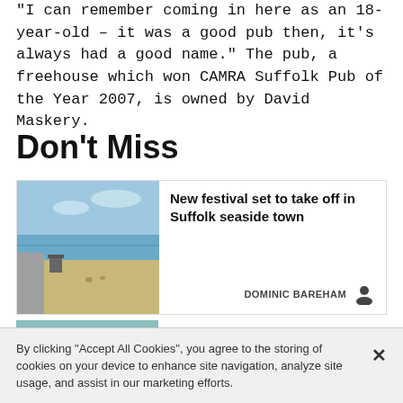“I can remember coming in here as an 18-year-old – it was a good pub then, it’s always had a good name.” The pub, a freehouse which won CAMRA Suffolk Pub of the Year 2007, is owned by David Maskery.
Don’t Miss
[Figure (photo): A beach scene with a sandy shore, sea in the background, a promenade path on the left, and a small beach shelter/hut visible.]
New festival set to take off in Suffolk seaside town
DOMINIC BAREHAM
[Figure (photo): Partial view of another article image, appears to show trees or foliage.]
By clicking “Accept All Cookies”, you agree to the storing of cookies on your device to enhance site navigation, analyze site usage, and assist in our marketing efforts.